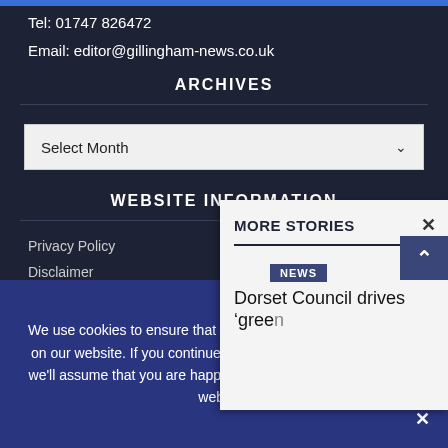Tel: 01747 826472
Email: editor@gillingham-news.co.uk
ARCHIVES
Select Month
WEBSITE INFORMATION
Privacy Policy
Disclaimer
Advertising Terms & Conditions
MORE STORIES
NEWS
Dorset Council drives 'green'
We use cookies to ensure that we give you the best experience on our website. If you continue without changing your settings, we'll assume that you are happy to receive all cookies from this website.